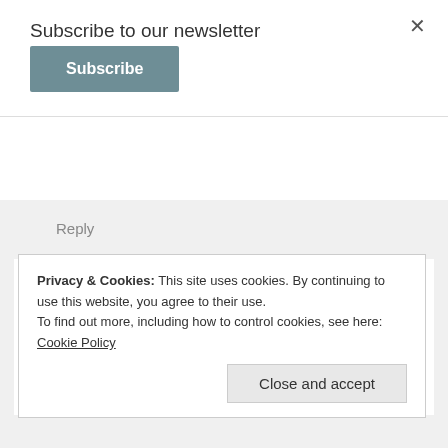Subscribe to our newsletter
Subscribe
Reply
Mikal says:
February 10, 2016 at 5:55 pm
Ha!!! You and me both!!! Honestly, it's way over the top for me, too. Except maybe that reception space. ❤ I do drool over that one!
Privacy & Cookies: This site uses cookies. By continuing to use this website, you agree to their use. To find out more, including how to control cookies, see here: Cookie Policy
Close and accept